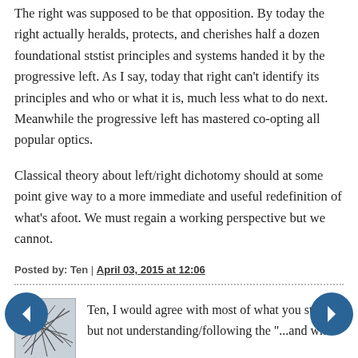The right was supposed to be that opposition. By today the right actually heralds, protects, and cherishes half a dozen foundational ststist principles and systems handed it by the progressive left. As I say, today that right can't identify its principles and who or what it is, much less what to do next. Meanwhile the progressive left has mastered co-opting all popular optics.
Classical theory about left/right dichotomy should at some point give way to a more immediate and useful redefinition of what's afoot. We must regain a working perspective but we cannot.
Posted by: Ten | April 03, 2015 at 12:06
[Figure (illustration): Small square avatar image with abstract dark line drawing on light background]
Ten, I would agree with most of what you state, but not understanding/following the "...and while the latter number a paltry 20%, plus or minus...". You are saying the left/statists number a paltry 20%? I doubt the